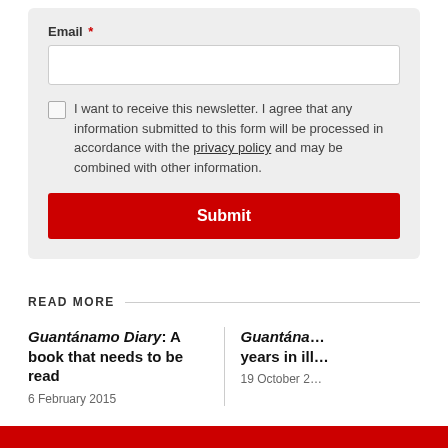Email *
I want to receive this newsletter. I agree that any information submitted to this form will be processed in accordance with the privacy policy and may be combined with other information.
Submit
READ MORE
Guantánamo Diary: A book that needs to be read
6 February 2015
Guantána... years in ill...
19 October 2...